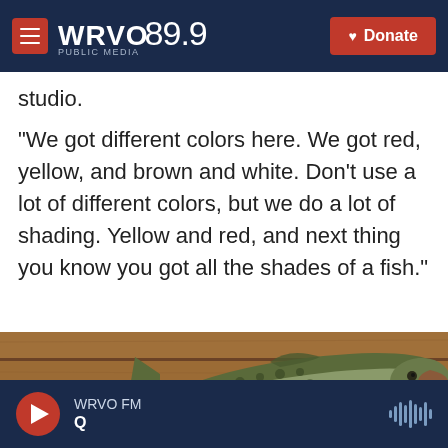WRVO Public Media 89.9 | Donate
studio.
"We got different colors here. We got red, yellow, and brown and white. Don't use a lot of different colors, but we do a lot of shading. Yellow and red, and next thing you know you got all the shades of a fish."
[Figure (photo): A taxidermy fish (pike or muskie) mounted on a log cabin wall above a man's head; another fish visible in foreground]
WRVO FM | Q